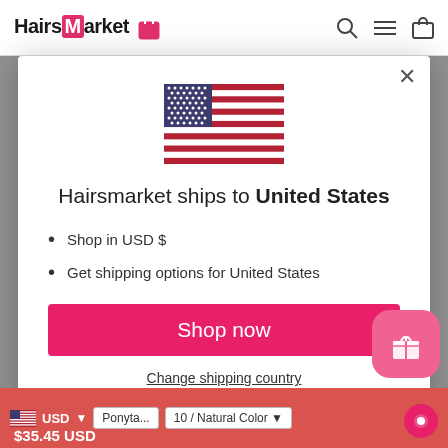HairsMarket
[Figure (illustration): US flag icon centered in modal]
Hairsmarket ships to United States
Shop in USD $
Get shipping options for United States
Shop now
Change shipping country
USD  Ponyta...  10 / Natural Color
$35.45 USD